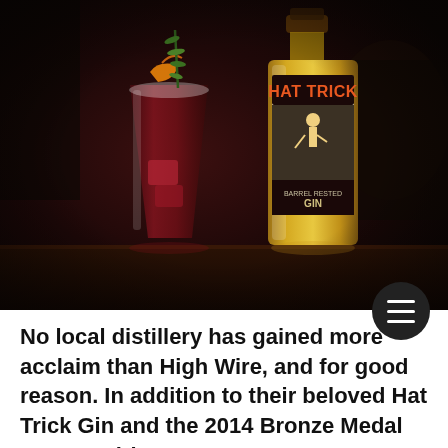[Figure (photo): Photo of a dark red cocktail in a tall glass garnished with orange slice and rosemary sprig, next to a bottle of Hat Trick Barrel Rested Gin, set on a dark bar surface.]
No local distillery has gained more acclaim than High Wire, and for good reason. In addition to their beloved Hat Trick Gin and the 2014 Bronze Medal ACSA Spirits